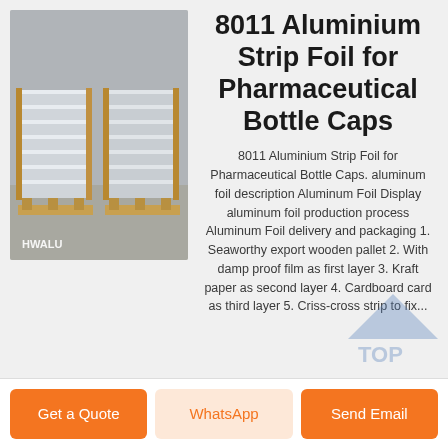[Figure (photo): Stacked aluminium foil rolls/sheets on wooden pallets in a warehouse, with HWALU watermark logo in bottom-left corner]
8011 Aluminium Strip Foil for Pharmaceutical Bottle Caps
8011 Aluminium Strip Foil for Pharmaceutical Bottle Caps. aluminum foil description Aluminum Foil Display aluminum foil production process Aluminum Foil delivery and packaging 1. Seaworthy export wooden pallet 2. With damp proof film as first layer 3. Kraft paper as second layer 4. Cardboard card as third layer 5. Criss-cross strip to fix...
Get a Quote
WhatsApp
Send Email